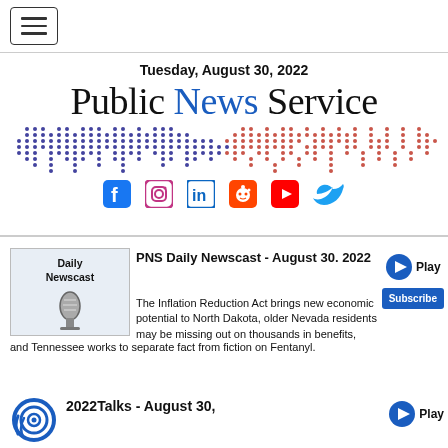[Figure (logo): Hamburger menu icon button]
Tuesday, August 30, 2022
[Figure (logo): Public News Service logo with world map dot pattern and social media icons (Facebook, Instagram, LinkedIn, Reddit, YouTube, Twitter)]
PNS Daily Newscast - August 30. 2022
The Inflation Reduction Act brings new economic potential to North Dakota, older Nevada residents may be missing out on thousands in benefits, and Tennessee works to separate fact from fiction on Fentanyl.
2022Talks - August 30,